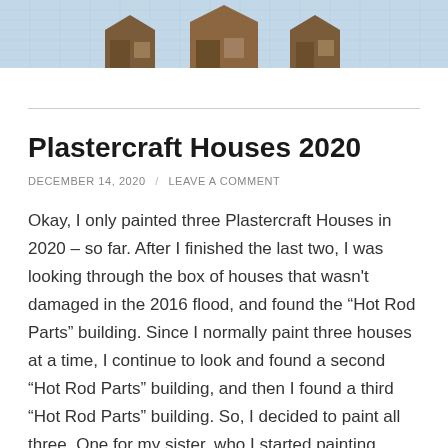[Figure (photo): Partial top of a photo showing Plastercraft house buildings on a blue grid/graph paper background. The bottom portion of the image is visible showing brown/tan house structures.]
Plastercraft Houses 2020
DECEMBER 14, 2020 / LEAVE A COMMENT
Okay, I only painted three Plastercraft Houses in 2020 – so far. After I finished the last two, I was looking through the box of houses that wasn't damaged in the 2016 flood, and found the “Hot Rod Parts” building. Since I normally paint three houses at a time, I continue to look and found a second “Hot Rod Parts” building, and then I found a third “Hot Rod Parts” building. So, I decided to paint all three. One for my sister, who I started painting houses for many years ago. One for my other sister, who